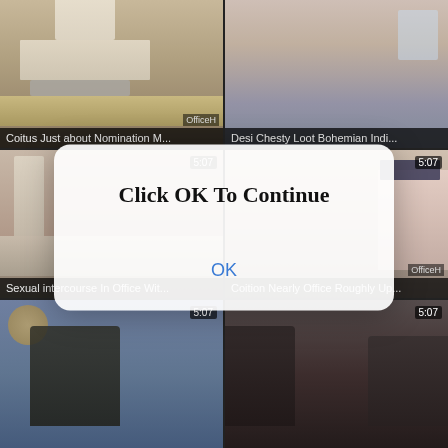[Figure (screenshot): Video thumbnail grid showing adult content website with 6 video thumbnails in 2x3 grid layout, overlaid by a modal dialog box saying 'Click OK To Continue' with an OK button]
Coitus Just about Nomination M...
Desi Chesty Loot Bohemian Indi...
Sexual intercourse In Office Wit...
Coition Nearly Office Roughly Up...
Click OK To Continue
OK